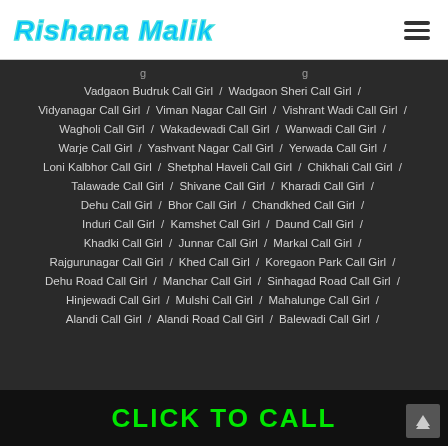Rishana Malik
Vadgaon Budruk Call Girl / Wadgaon Sheri Call Girl / Vidyanagar Call Girl / Viman Nagar Call Girl / Vishrant Wadi Call Girl / Wagholi Call Girl / Wakadewadi Call Girl / Wanwadi Call Girl / Warje Call Girl / Yashvant Nagar Call Girl / Yerwada Call Girl / Loni Kalbhor Call Girl / Shetphal Haveli Call Girl / Chikhali Call Girl / Talawade Call Girl / Shivane Call Girl / Kharadi Call Girl / Dehu Call Girl / Bhor Call Girl / Chandkhed Call Girl / Induri Call Girl / Kamshet Call Girl / Daund Call Girl / Khadki Call Girl / Junnar Call Girl / Markal Call Girl / Rajgurunagar Call Girl / Khed Call Girl / Koregaon Park Call Girl / Dehu Road Call Girl / Manchar Call Girl / Sinhagad Road Call Girl / Hinjewadi Call Girl / Mulshi Call Girl / Mahalunge Call Girl / Alandi Call Girl / Alandi Road Call Girl / Balewadi Call Girl /
CLICK TO CALL